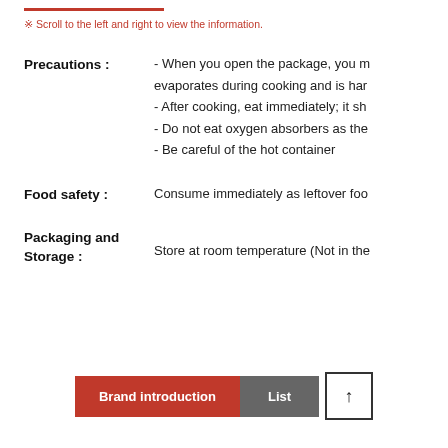※ Scroll to the left and right to view the information.
Precautions : - When you open the package, you m evaporates during cooking and is harm - After cooking, eat immediately; it sho - Do not eat oxygen absorbers as they - Be careful of the hot container
Food safety : Consume immediately as leftover foo
Packaging and Storage : Store at room temperature (Not in the
Brand introduction | List | ↑